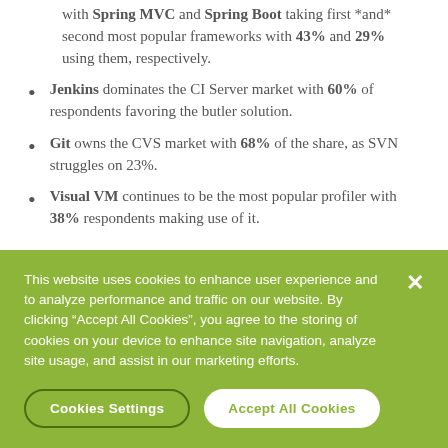with Spring MVC and Spring Boot taking first *and* second most popular frameworks with 43% and 29% using them, respectively.
Jenkins dominates the CI Server market with 60% of respondents favoring the butler solution.
Git owns the CVS market with 68% of the share, as SVN struggles on 23%.
Visual VM continues to be the most popular profiler with 38% respondents making use of it.
This website uses cookies to enhance user experience and to analyze performance and traffic on our website. By clicking “Accept All Cookies”, you agree to the storing of cookies on your device to enhance site navigation, analyze site usage, and assist in our marketing efforts.